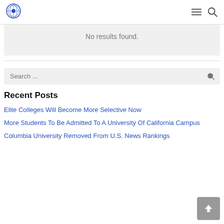Navigation bar with logo, menu, and search icons
No results found.
[Figure (screenshot): Search input box with placeholder text 'Search ...' and a search icon on the right]
Recent Posts
Elite Colleges Will Become More Selective Now
More Students To Be Admitted To A University Of California Campus
Columbia University Removed From U.S. News Rankings